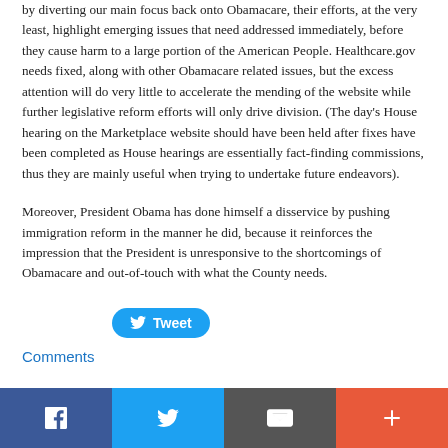by diverting our main focus back onto Obamacare, their efforts, at the very least, highlight emerging issues that need addressed immediately, before they cause harm to a large portion of the American People.  Healthcare.gov needs fixed, along with other Obamacare related issues, but the excess attention will do very little to accelerate the mending of the website while further legislative reform efforts will only drive division.    (The day's House hearing on the Marketplace website should have been held after fixes have been completed as House hearings are essentially fact-finding commissions, thus they are mainly useful when trying to undertake future endeavors).
Moreover, President Obama has done himself a disservice by pushing immigration reform in the manner he did, because it reinforces the impression that the President is unresponsive to the shortcomings of Obamacare and out-of-touch with what the County needs.
[Figure (other): Twitter Tweet button (blue pill-shaped button with bird icon and 'Tweet' text)]
Comments
Social sharing bar with Facebook, Twitter, Email, and More (+) buttons